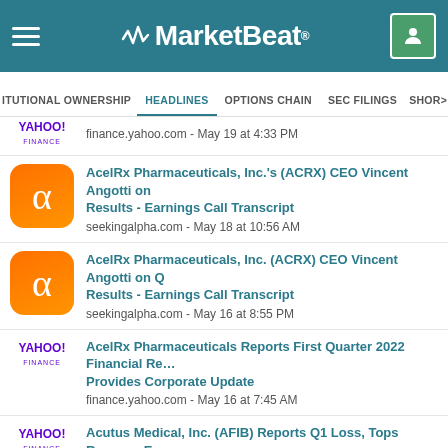[Figure (screenshot): MarketBeat website header with logo and navigation]
MarketBeat
finance.yahoo.com - May 19 at 4:33 PM
AcelRx Pharmaceuticals, Inc.'s (ACRX) CEO Vincent Angotti on Q… Results - Earnings Call Transcript
seekingalpha.com - May 18 at 10:56 AM
AcelRx Pharmaceuticals, Inc. (ACRX) CEO Vincent Angotti on Q… Results - Earnings Call Transcript
seekingalpha.com - May 16 at 8:55 PM
AcelRx Pharmaceuticals Reports First Quarter 2022 Financial Re… Provides Corporate Update
finance.yahoo.com - May 16 at 7:45 AM
Acutus Medical, Inc. (AFIB) Reports Q1 Loss, Tops Revenue Es…
finance.yahoo.com - May 13 at 12:50 AM
AcelRx Pharmaceuticals Announces Publication of Results from Investigator-Initiated Trial on Sufentanil Sublingual Tablet (SST)… Standard Intravenous Opioids during Plastic Surgery Procedure…